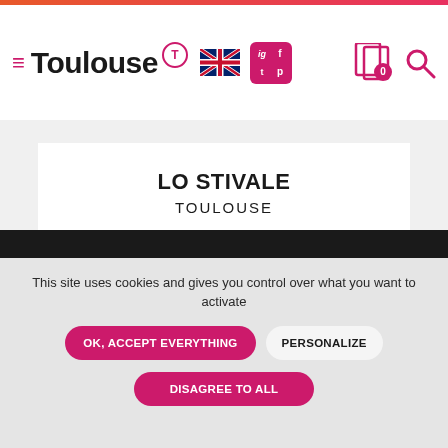Toulouse
LO STIVALE
TOULOUSE
RESTAURANT
TRADITIONAL CUISINE
ITALIAN CUISINE
This site uses cookies and gives you control over what you want to activate
OK, ACCEPT EVERYTHING
PERSONALIZE
DISAGREE TO ALL